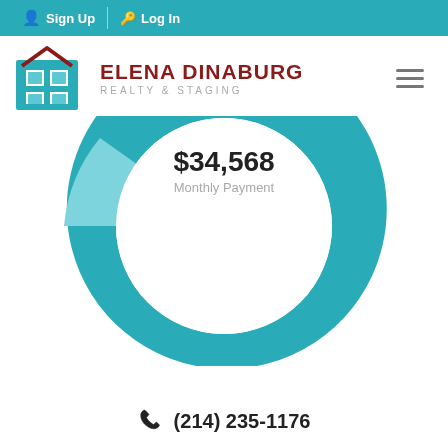Sign Up  Log In
[Figure (logo): Elena Dinaburg Realty & Staging logo with teal house icon]
[Figure (donut-chart): Donut/semicircle chart showing monthly payment breakdown in teal and light blue]
$34,568
Monthly Payment
(214) 235-1176